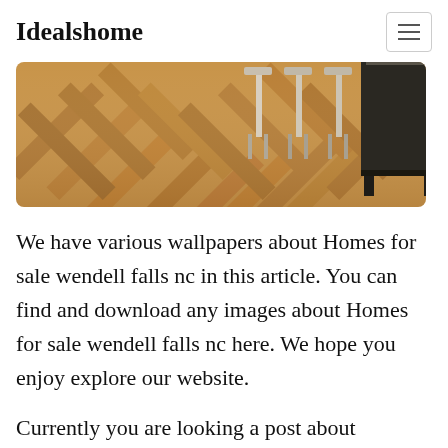Idealshome
[Figure (photo): Interior kitchen scene with wooden herringbone-pattern floor, bar stools, and dark kitchen island]
We have various wallpapers about Homes for sale wendell falls nc in this article. You can find and download any images about Homes for sale wendell falls nc here. We hope you enjoy explore our website.
Currently you are looking a post about